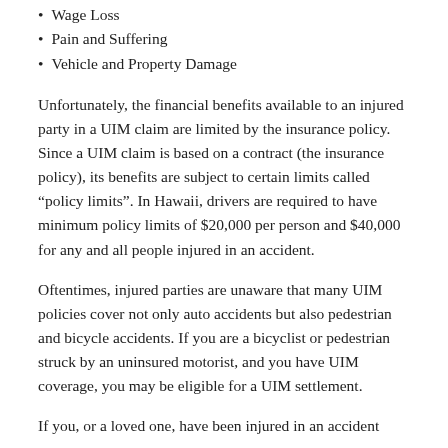Wage Loss
Pain and Suffering
Vehicle and Property Damage
Unfortunately, the financial benefits available to an injured party in a UIM claim are limited by the insurance policy. Since a UIM claim is based on a contract (the insurance policy), its benefits are subject to certain limits called “policy limits”. In Hawaii, drivers are required to have minimum policy limits of $20,000 per person and $40,000 for any and all people injured in an accident.
Oftentimes, injured parties are unaware that many UIM policies cover not only auto accidents but also pedestrian and bicycle accidents. If you are a bicyclist or pedestrian struck by an uninsured motorist, and you have UIM coverage, you may be eligible for a UIM settlement.
If you, or a loved one, have been injured in an accident involving an uninsured motorist, you may be entitled to...